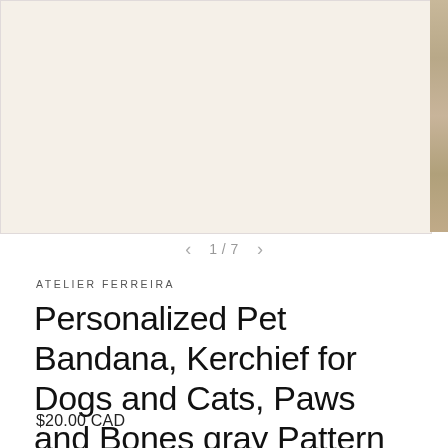[Figure (photo): Product image area showing a pet bandana; light beige/cream background with a partial fur/texture strip visible on the right edge. Navigation indicator shows 1/7 images.]
1 / 7
ATELIER FERREIRA
Personalized Pet Bandana, Kerchief for Dogs and Cats, Paws and Bones gray Pattern Colour
$20.00 CAD